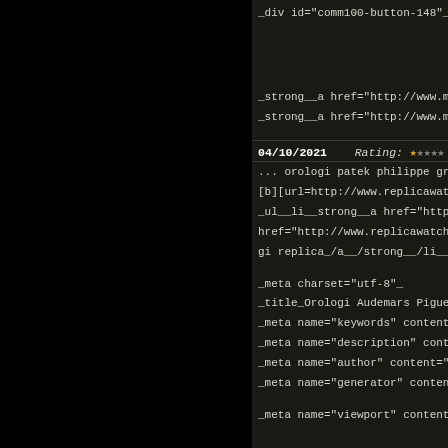_div id="comm100-button-148"__/div_
_strong__a href="http://www.montblanc
_strong__a href="http://www.montblanc
04/10/2021   Rating: ★☆☆☆☆ [1 of
... orologi patek philippe grande sconto[...
[b][url=http://www.replicawatchesonsale
_ul__li__strong__a href="http://www.rep
href="http://www.replicawatchesonsale.c
gi replica_/a__/strong__/li__li__strong_
_meta charset="utf-8"_
_title_Orologi Audemars Piguet_/title_
_meta name="keywords" content="Orolo
_meta name="description" content="Mig
_meta name="author" content="replicaw
_meta name="generator" content="shop
_meta name="viewport" content="width:
_base href="http://www.replicawatchesco
_link rel="canonical" href="http://www.re
emars-piguet-c-99/" /_
_link rel="alternate" href="http://www.rep
emars-piguet-c-99/&amp;language=gb